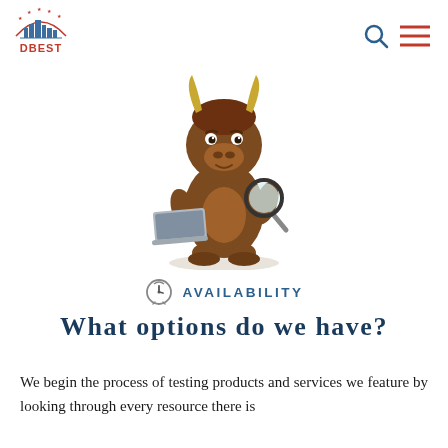[Figure (logo): DBEST logo: semicircle arch with city skyline and stars, orange text DBEST below]
[Figure (illustration): Cartoon bull/yak mascot holding a laptop and magnifying glass]
AVAILABILITY
What options do we have?
We begin the process of testing products and services we feature by looking through every resource there is